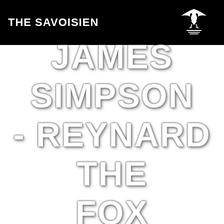THE SAVOISIEN
JAMES SIMPSON - REYNARD THE FOX